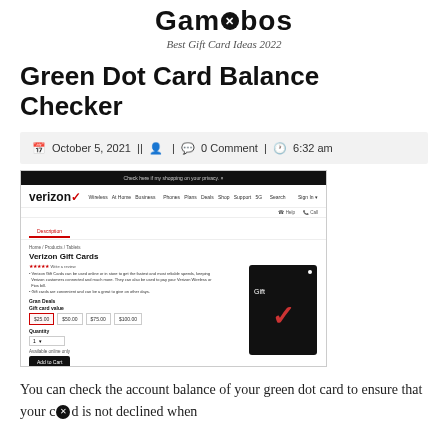Gamenbos – Best Gift Card Ideas 2022
Green Dot Card Balance Checker
October 5, 2021 || [user icon] | [comment icon] 0 Comment | [clock icon] 6:32 am
[Figure (screenshot): Screenshot of Verizon Gift Cards product page showing gift card options ($25.00, $50.00, $75.00, $100.00), a quantity selector, Add to Cart button, and a black Verizon gift card image with a red checkmark.]
You can check the account balance of your green dot card to ensure that your card is not declined when